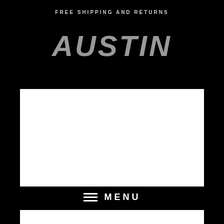FREE SHIPPING AND RETURNS
AUSTIN
[Figure (other): White rectangular image placeholder area on black background]
≡ MENU
[Figure (other): White rectangular partial image area at bottom of page]